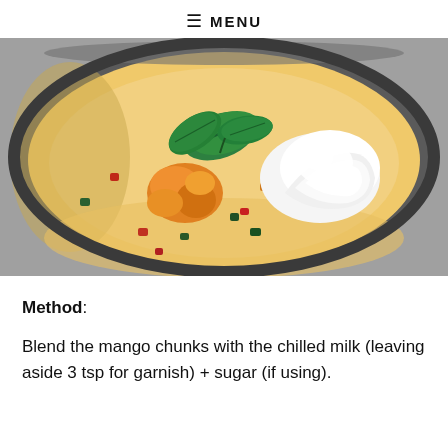≡ MENU
[Figure (photo): Overhead close-up of a dessert bowl containing a creamy mango-colored liquid base with colorful fruit pieces (mango chunks, red, green, orange jelly cubes), a scoop of white whipped cream on the right side, and fresh mint leaves as garnish in the center-top.]
Method:
Blend the mango chunks with the chilled milk (leaving aside 3 tsp for garnish) + sugar (if using).